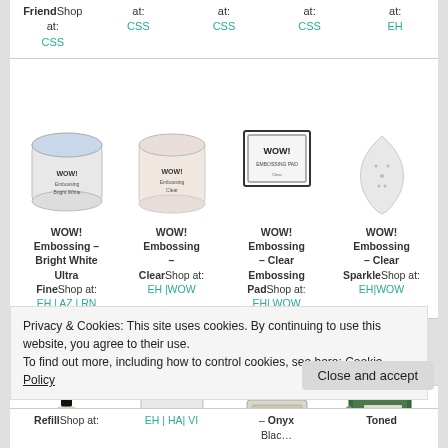FriendShop at: CSS | Shop at: CSS | at: CSS | at: CSS | at: EH
[Figure (photo): WOW! Embossing Bright White Ultra Fine powder jar]
WOW! Embossing – Bright White Ultra FineShop at: EH | AZ | RN
[Figure (photo): WOW! Embossing Clear powder jar]
WOW! Embossing – ClearShop at: EH |WOW
[Figure (photo): WOW! Embossing – Clear Embossing Pad box]
WOW! Embossing – Clear Embossing PadShop at: EH| WOW
[Figure (photo): WOW! Embossing – Clear Sparkle teardrop shape]
WOW! Embossing – Clear SparkleShop at: EH|WOW
[Figure (photo): WOW Refill bottle]
[Figure (photo): Embossing folder with swirl design]
[Figure (photo): VersaFine stamp pad]
[Figure (photo): Green spiral notebook with portrait photo]
Privacy & Cookies: This site uses cookies. By continuing to use this website, you agree to their use.
To find out more, including how to control cookies, see here: Cookie Policy
Close and accept
RefillShop at: EH | HA| VI | – Onyx Blac… Shop at: | Toned